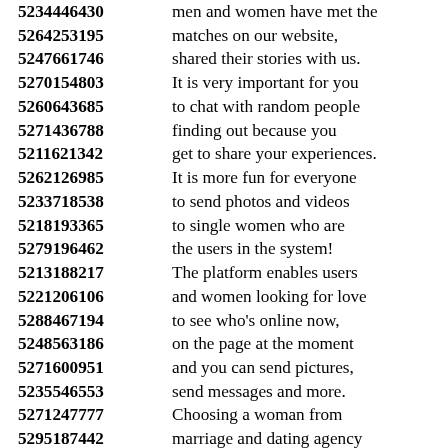5234446430 men and women have met the
5264253195 matches on our website,
5247661746 shared their stories with us.
5270154803 It is very important for you
5260643685 to chat with random people
5271436788 finding out because you
5211621342 get to share your experiences.
5262126985 It is more fun for everyone
5233718538 to send photos and videos
5218193365 to single women who are
5279196462 the users in the system!
5213188217 The platform enables users
5221206106 and women looking for love
5288467194 to see who's online now,
5248563186 on the page at the moment
5271600951 and you can send pictures,
5235546553 send messages and more.
5271247777 Choosing a woman from
5295187442 marriage and dating agency
5210483416 who share the same interests
5242568968 will increase the number of
5287685179 contacts that will help you
5266155908 meet your needs and goals.
5263257121 It's time for you to choose
5290898261 woman seeking man who
5318564433 ...